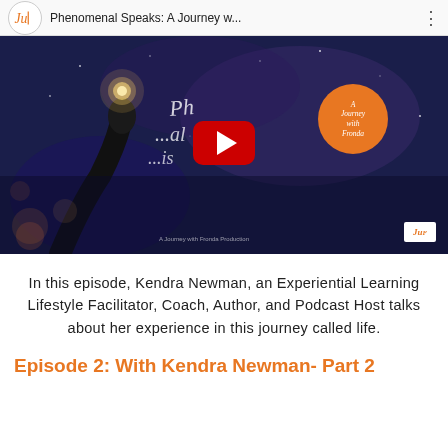[Figure (screenshot): YouTube video thumbnail for 'Phenomenal Speaks: A Journey w...' showing a dark blue background with a hand holding a glowing light bulb, a red YouTube play button in the center, cursive text overlay reading 'Phenomenal Speaks', and an orange circular badge reading 'A Journey with Fronda'. The YouTube bar at the top shows a JuF logo circle, the video title, and a three-dot menu icon.]
In this episode, Kendra Newman, an Experiential Learning Lifestyle Facilitator, Coach, Author, and Podcast Host talks about her experience in this journey called life.
Episode 2: With Kendra Newman- Part 2